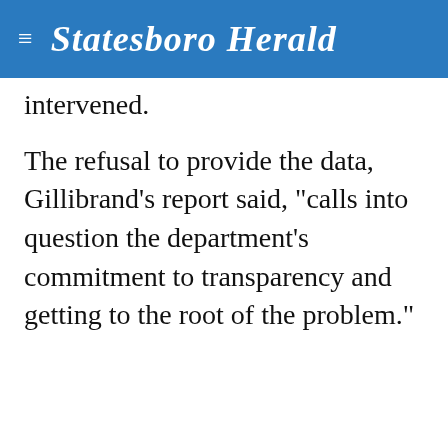Statesboro Herald
intervened.
The refusal to provide the data, Gillibrand's report said, "calls into question the department's commitment to transparency and getting to the root of the problem."